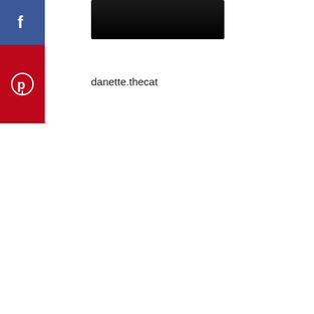[Figure (screenshot): Facebook share button - blue square with white 'f' icon]
[Figure (screenshot): Dark/black rectangular image area]
[Figure (screenshot): Pinterest save button - red rectangle with white Pinterest 'p' logo]
danette.thecat